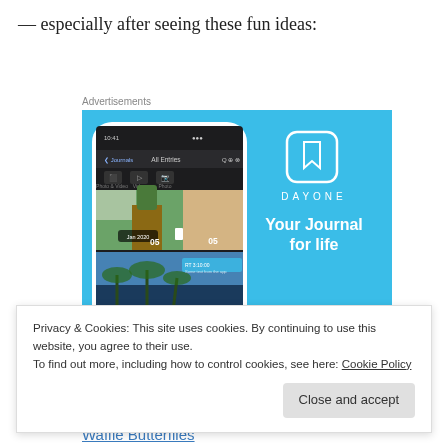— especially after seeing these fun ideas:
Advertisements
[Figure (screenshot): DayOne app advertisement showing a smartphone mockup with the app interface displaying journal entries with photos, alongside the DayOne logo and tagline 'Your Journal for life' on a light blue background.]
Privacy & Cookies: This site uses cookies. By continuing to use this website, you agree to their use.
To find out more, including how to control cookies, see here: Cookie Policy
Close and accept
Waffle Butterflies